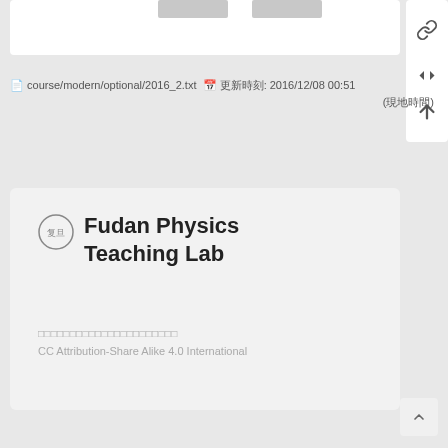[Figure (screenshot): Top portion of a web interface card with gray placeholder bars and a floating action panel with link, move, and up-arrow icons on the right side.]
course/modern/optional/2016_2.txt  更新时间: 2016/12/08 00:51 (本地时间)
[Figure (screenshot): Card showing Fudan Physics Teaching Lab logo and title, with license text: 复旦大学物理教学实验室版权所有 and CC Attribution-Share Alike 4.0 International]
Fudan Physics Teaching Lab
复旦大学物理教学实验室版权所有
CC Attribution-Share Alike 4.0 International